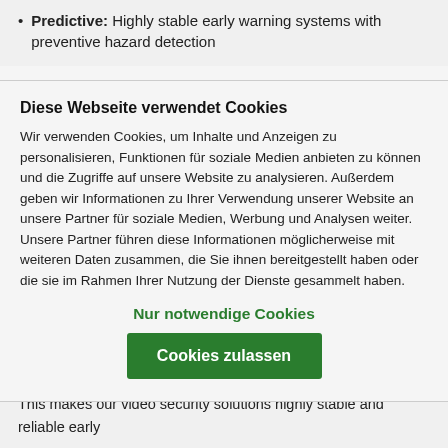Predictive: Highly stable early warning systems with preventive hazard detection
Diese Webseite verwendet Cookies
Wir verwenden Cookies, um Inhalte und Anzeigen zu personalisieren, Funktionen für soziale Medien anbieten zu können und die Zugriffe auf unsere Website zu analysieren. Außerdem geben wir Informationen zu Ihrer Verwendung unserer Website an unsere Partner für soziale Medien, Werbung und Analysen weiter. Unsere Partner führen diese Informationen möglicherweise mit weiteren Daten zusammen, die Sie ihnen bereitgestellt haben oder die sie im Rahmen Ihrer Nutzung der Dienste gesammelt haben.
Nur notwendige Cookies
Cookies zulassen
without any interface problems - and deliver excellent results.  This makes our video security solutions highly stable and reliable early